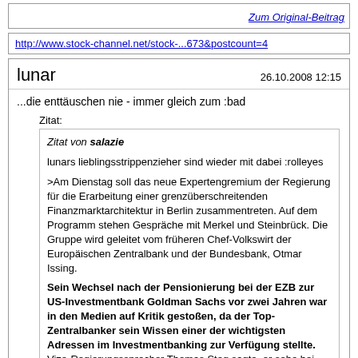Zum Original-Beitrag
http://www.stock-channel.net/stock-...673&postcount=4
lunar
26.10.2008 12:15
...die enttäuschen nie - immer gleich zum :bad
Zitat:
Zitat von salazie

lunars lieblingsstrippenzieher sind wieder mit dabei :rolleyes

>Am Dienstag soll das neue Expertengremium der Regierung für die Erarbeitung einer grenzüberschreitenden Finanzmarktarchitektur in Berlin zusammentreten. Auf dem Programm stehen Gespräche mit Merkel und Steinbrück. Die Gruppe wird geleitet vom früheren Chef-Volkswirt der Europäischen Zentralbank und der Bundesbank, Otmar Issing.

Sein Wechsel nach der Pensionierung bei der EZB zur US-Investmentbank Goldman Sachs vor zwei Jahren war in den Medien auf Kritik gestoßen, da der Top-Zentralbanker sein Wissen einer der wichtigsten Adressen im Investmentbanking zur Verfügung stellte. Vize-Regierungssprecher Thomas Steg sagte, er sehe bei den Tätigkeiten des 72-jährigen Wirtschaftsprofessors keine Interessenkollisionen. Frühere Tätigkeiten fielen bei der Bewertung nicht ins Gewicht. Eine Sprecherin von Goldman Sachs bestätigte, dass Issing weiter als Berater für das Geldhaus tätig sei.<
quelle